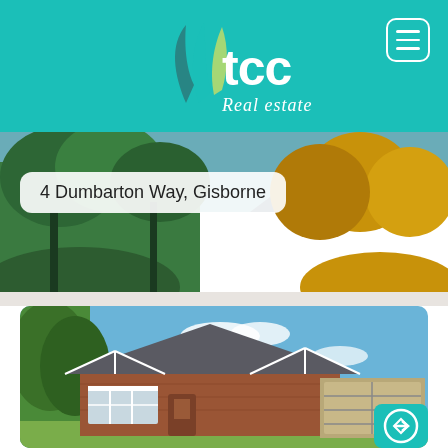[Figure (logo): TCC Real Estate logo with leaf motif on teal/turquoise header background]
[Figure (photo): Hamburger menu icon in white rounded rectangle on teal background, top right corner]
[Figure (photo): Hero landscape photo of autumn trees with yellow foliage and mountains in background]
4 Dumbarton Way, Gisborne
[Figure (photo): Exterior photo of a single-storey brick home with gabled roof, white trim, bay windows, and double garage under blue sky with trees]